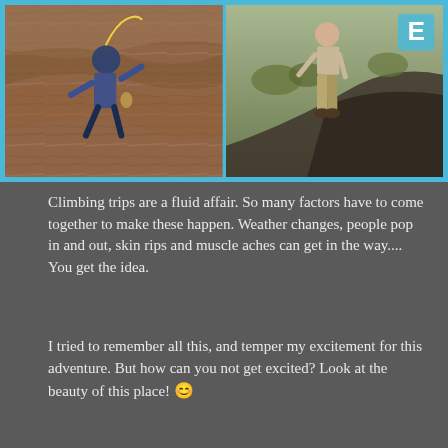[Figure (photo): Two photos side by side with a cyan/blue border: left photo shows a rock climber on a reddish brown rock face; right photo shows a person standing on rocky terrain with a cyan 'E' letter overlay in the top right corner.]
Climbing trips are a fluid affair. So many factors have to come together to make these happen. Weather changes, people pop in and out, skin rips and muscle aches can get in the way.... You get the idea.
I tried to remember all this, and temper my excitement for this adventure. But how can you not get excited? Look at the beauty of this place! 😊
Advertisements
[Figure (other): Longreads advertisement: red background with white border, Longreads logo (circle with L), brand name LONGREADS, tagline 'The best stories on the web — ours, and everyone else's.']
REPORT THIS AD
The genesis for this trip began months earlier, when our son, Ryan, told us he would be joining us in Tucson for the winter months. Of course, we would be climbing in Arizona, but what